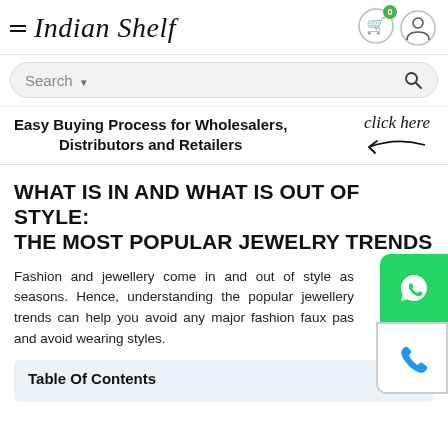Indian Shelf
Search
Easy Buying Process for Wholesalers, Distributors and Retailers  click here
WHAT IS IN AND WHAT IS OUT OF STYLE: THE MOST POPULAR JEWELRY TRENDS
Fashion and jewellery come in and out of style as seasons. Hence, understanding the popular jewellery trends can help you avoid any major fashion faux pas and avoid wearing styles.
Table Of Contents